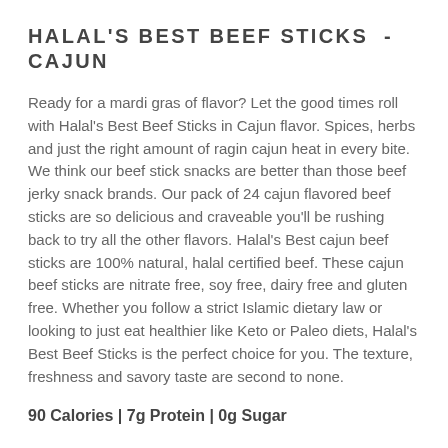HALAL'S BEST BEEF STICKS - CAJUN
Ready for a mardi gras of flavor? Let the good times roll with Halal's Best Beef Sticks in Cajun flavor. Spices, herbs and just the right amount of ragin cajun heat in every bite. We think our beef stick snacks are better than those beef jerky snack brands. Our pack of 24 cajun flavored beef sticks are so delicious and craveable you'll be rushing back to try all the other flavors. Halal's Best cajun beef sticks are 100% natural, halal certified beef. These cajun beef sticks are nitrate free, soy free, dairy free and gluten free. Whether you follow a strict Islamic dietary law or looking to just eat healthier like Keto or Paleo diets, Halal's Best Beef Sticks is the perfect choice for you. The texture, freshness and savory taste are second to none.
90 Calories | 7g Protein | 0g Sugar